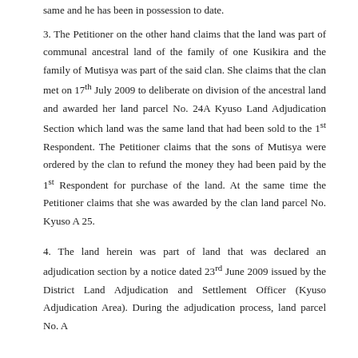same and he has been in possession to date.
3. The Petitioner on the other hand claims that the land was part of communal ancestral land of the family of one Kusikira and the family of Mutisya was part of the said clan. She claims that the clan met on 17th July 2009 to deliberate on division of the ancestral land and awarded her land parcel No. 24A Kyuso Land Adjudication Section which land was the same land that had been sold to the 1st Respondent. The Petitioner claims that the sons of Mutisya were ordered by the clan to refund the money they had been paid by the 1st Respondent for purchase of the land. At the same time the Petitioner claims that she was awarded by the clan land parcel No. Kyuso A 25.
4. The land herein was part of land that was declared an adjudication section by a notice dated 23rd June 2009 issued by the District Land Adjudication and Settlement Officer (Kyuso Adjudication Area). During the adjudication process, land parcel No. A 24...